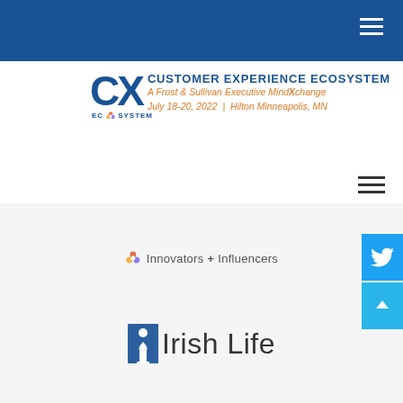Customer Experience Ecosystem — A Frost & Sullivan Executive MindXchange — July 18-20, 2022 | Hilton Minneapolis, MN
[Figure (logo): CX Ecosystem logo with Frost & Sullivan branding. Large CX letters in navy, with text: CUSTOMER EXPERIENCE ECOSYSTEM, A Frost & Sullivan Executive MindXchange, July 18-20, 2022 | Hilton Minneapolis, MN]
[Figure (logo): Innovators + Influencers badge with colorful flower icon]
[Figure (logo): Irish Life logo with blue figure icon and Irish Life text]